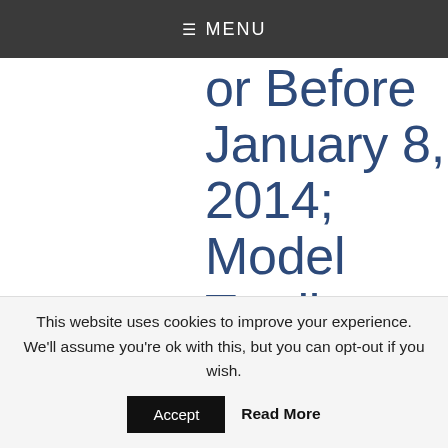≡ MENU
or Before January 8, 2014; Model Trading Rules; Amendments to Framework Regulations – Proposed Rule –
This website uses cookies to improve your experience. We'll assume you're ok with this, but you can opt-out if you wish.
Accept   Read More